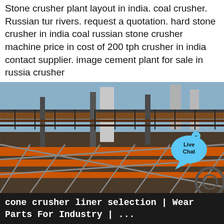Stone crusher plant layout in india. coal crusher. Russian tur rivers. request a quotation. hard stone crusher in india coal russian stone crusher machine price in cost of 200 tph crusher in india contact supplier. image cement plant for sale in russia crusher
[Figure (photo): Industrial stone crusher plant facility with metal conveyor structures, orange framework, steel girders and machinery visible under open sky. A 'Live Chat' bubble UI element overlaid in the top-right area.]
cone crusher liner selection | Wear Parts For Industry | ...
Cone crusher liner selection, which is very important selection for user. Cone crusher liners need periodic